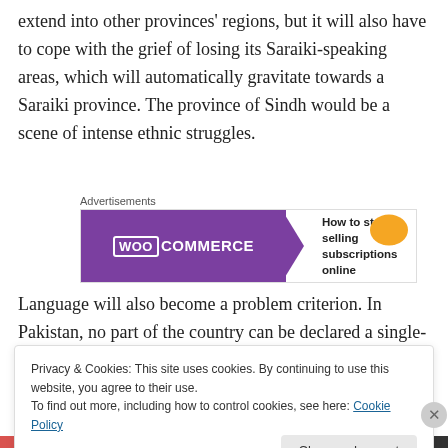extend into other provinces' regions, but it will also have to cope with the grief of losing its Saraiki-speaking areas, which will automatically gravitate towards a Saraiki province. The province of Sindh would be a scene of intense ethnic struggles.
[Figure (other): WooCommerce advertisement banner: 'How to start selling subscriptions online']
Language will also become a problem criterion. In Pakistan, no part of the country can be declared a single-
Privacy & Cookies: This site uses cookies. By continuing to use this website, you agree to their use.
To find out more, including how to control cookies, see here: Cookie Policy